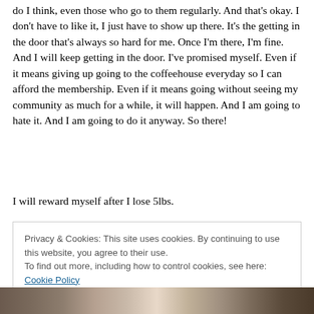do I think, even those who go to them regularly. And that's okay. I don't have to like it, I just have to show up there. It's the getting in the door that's always so hard for me. Once I'm there, I'm fine. And I will keep getting in the door. I've promised myself. Even if it means giving up going to the coffeehouse everyday so I can afford the membership. Even if it means going without seeing my community as much for a while, it will happen. And I am going to hate it. And I am going to do it anyway. So there!
I will reward myself after I lose 5lbs.
Privacy & Cookies: This site uses cookies. By continuing to use this website, you agree to their use.
To find out more, including how to control cookies, see here: Cookie Policy
[Figure (photo): Bottom strip showing a partial photo, appears to be sushi or food items]